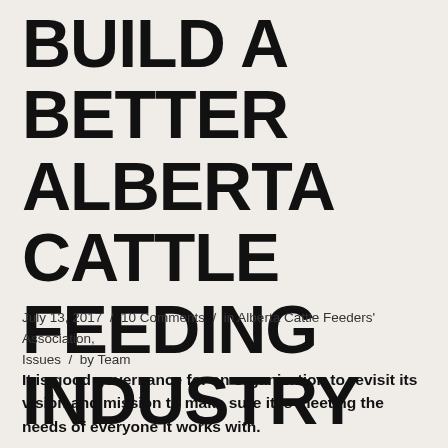BUILD A BETTER ALBERTA CATTLE FEEDING INDUSTRY
July 13, 2017 / 10 Comments / in Alberta Cattle Feeders' Association, Issues / by Team
It is good governance for an organization to revisit its vision and mission to make sure it is meeting the needs of everyone it works with.